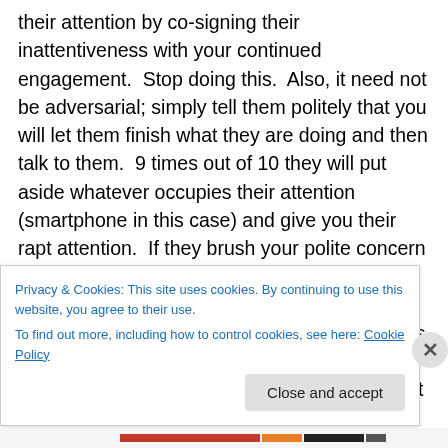their attention by co-signing their inattentiveness with your continued engagement.  Stop doing this.  Also, it need not be adversarial; simply tell them politely that you will let them finish what they are doing and then talk to them.  9 times out of 10 they will put aside whatever occupies their attention (smartphone in this case) and give you their rapt attention.  If they brush your polite concern aside and insist that they can concentrate on you and their phone at the same time, remain firm in your polite refusal to have conversations with a distracted person.  They will eventually come around and respect you the more for it at
Privacy & Cookies: This site uses cookies. By continuing to use this website, you agree to their use.
To find out more, including how to control cookies, see here: Cookie Policy
Close and accept